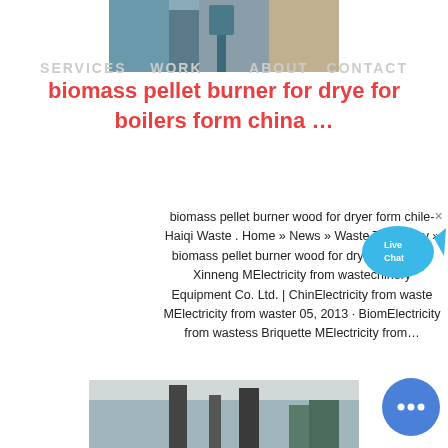[Figure (photo): Top image of industrial biomass equipment/boiler, partially visible at top of page]
SERVICES  WORK       ABOUT  CONTACT
biomass pellet burner for drye for boilers form china …
biomass pellet burner wood for dryer form chile-Haiqi Waste . Home » News » Waste To Energy » biomass pellet burner wood for dryer form chile Xinneng MElectricity from wastechinery Equipment Co. Ltd. | ChinElectricity from waste MElectricity from waster 05, 2013 · BiomElectricity from wastess Briquette MElectricity from…
[Figure (infographic): Color sidebar showing COLOR: label with Orange, Blue, and Yellow color swatches]
[Figure (photo): Live Chat bubble widget with cyan speech bubble icon in top right area]
[Figure (photo): Bottom image showing industrial facility/biomass plant equipment]
[Figure (other): Blue circular chat button at bottom right]